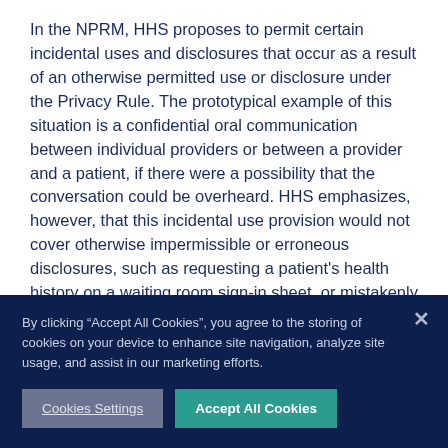In the NPRM, HHS proposes to permit certain incidental uses and disclosures that occur as a result of an otherwise permitted use or disclosure under the Privacy Rule. The prototypical example of this situation is a confidential oral communication between individual providers or between a provider and a patient, if there were a possibility that the conversation could be overheard. HHS emphasizes, however, that this incidental use provision would not cover otherwise impermissible or erroneous disclosures, such as requesting a patient's health history on a waiting room sign-in sheet, or mistakenly sending PHI via e-mail to the wrong recipient.
By clicking “Accept All Cookies”, you agree to the storing of cookies on your device to enhance site navigation, analyze site usage, and assist in our marketing efforts.